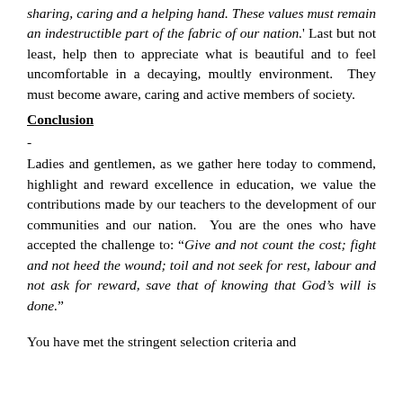sharing, caring and a helping hand. These values must remain an indestructible part of the fabric of our nation.' Last but not least, help then to appreciate what is beautiful and to feel uncomfortable in a decaying, moultly environment. They must become aware, caring and active members of society.
Conclusion
-
Ladies and gentlemen, as we gather here today to commend, highlight and reward excellence in education, we value the contributions made by our teachers to the development of our communities and our nation. You are the ones who have accepted the challenge to: “Give and not count the cost; fight and not heed the wound; toil and not seek for rest, labour and not ask for reward, save that of knowing that God’s will is done.”
You have met the stringent selection criteria and